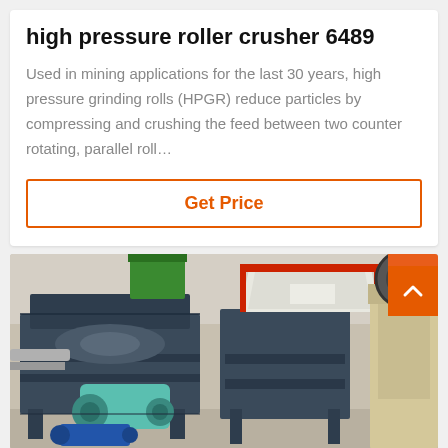high pressure roller crusher 6489
Used in mining applications for the last 30 years, high pressure grinding rolls (HPGR) reduce particles by compressing and crushing the feed between two counter rotating, parallel roll…
Get Price
[Figure (photo): Industrial high pressure roller crusher / grinding machine equipment shown in a workshop setting, with dark blue metal frames, green and teal colored motor/belt components, red-trimmed hopper, and a beige jaw crusher visible on the right side.]
Leave Message
Chat Online